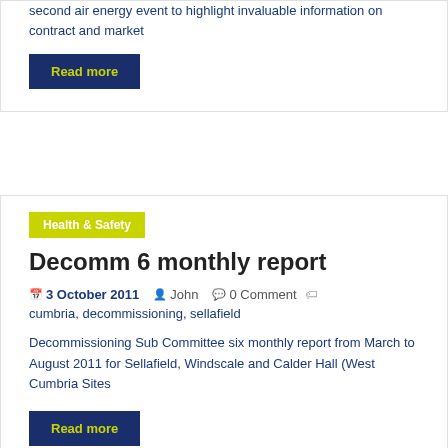second air energy event to highlight invaluable information on contract and market
Read more
Health & Safety
Decomm 6 monthly report
3 October 2011  John  0 Comment  cumbria, decommissioning, sellafield
Decommissioning Sub Committee six monthly report from March to August 2011 for Sellafield, Windscale and Calder Hall (West Cumbria Sites
Read more